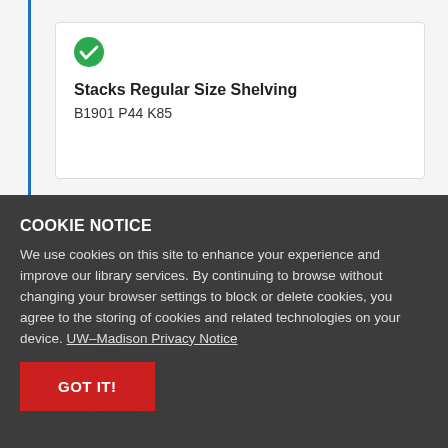[Figure (screenshot): Library catalog item card showing a green checkmark icon, bold title 'Stacks Regular Size Shelving', and call number 'B1901 P44 K85'. Blue vertical line on the left side.]
COOKIE NOTICE
We use cookies on this site to enhance your experience and improve our library services. By continuing to browse without changing your browser settings to block or delete cookies, you agree to the storing of cookies and related technologies on your device. UW–Madison Privacy Notice
GOT IT!